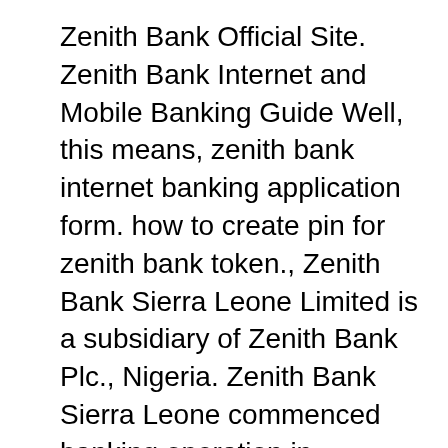Zenith Bank Official Site. Zenith Bank Internet and Mobile Banking Guide Well, this means, zenith bank internet banking application form. how to create pin for zenith bank token., Zenith Bank Sierra Leone Limited is a subsidiary of Zenith Bank Plc., Nigeria. Zenith Bank Sierra Leone commenced banking operation in September 2008. The bankвЂ™s.
6/09/2018В В· The mobile app version of our internet banking platform, offering easier and safer access to our banking services on the go After submitting the correctly filled form, you are given your zenith bank internet banking Access and...